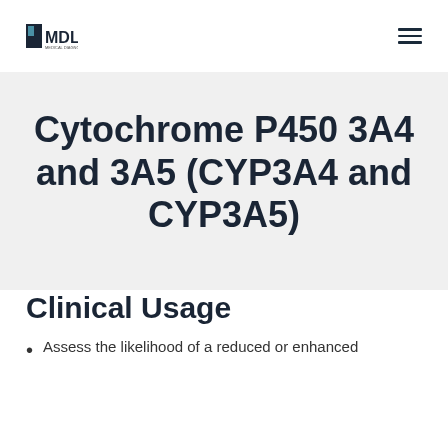MDL logo and navigation menu
Cytochrome P450 3A4 and 3A5 (CYP3A4 and CYP3A5)
Clinical Usage
Assess the likelihood of a reduced or enhanced